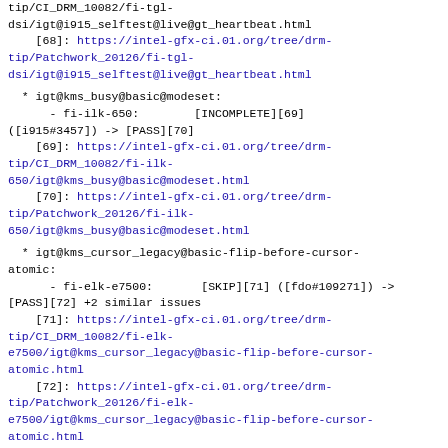tip/CI_DRM_10082/fi-tgl-dsi/igt@i915_selftest@live@gt_heartbeat.html
    [68]: https://intel-gfx-ci.01.org/tree/drm-tip/Patchwork_20126/fi-tgl-dsi/igt@i915_selftest@live@gt_heartbeat.html
* igt@kms_busy@basic@modeset:
    - fi-ilk-650:        [INCOMPLETE][69] ([i915#3457]) -> [PASS][70]
    [69]: https://intel-gfx-ci.01.org/tree/drm-tip/CI_DRM_10082/fi-ilk-650/igt@kms_busy@basic@modeset.html
    [70]: https://intel-gfx-ci.01.org/tree/drm-tip/Patchwork_20126/fi-ilk-650/igt@kms_busy@basic@modeset.html
* igt@kms_cursor_legacy@basic-flip-before-cursor-atomic:
    - fi-elk-e7500:       [SKIP][71] ([fdo#109271]) -> [PASS][72] +2 similar issues
    [71]: https://intel-gfx-ci.01.org/tree/drm-tip/CI_DRM_10082/fi-elk-e7500/igt@kms_cursor_legacy@basic-flip-before-cursor-atomic.html
    [72]: https://intel-gfx-ci.01.org/tree/drm-tip/Patchwork_20126/fi-elk-e7500/igt@kms_cursor_legacy@basic-flip-before-cursor-atomic.html
* igt@kms_pipe_crc_basic@nonblocking-crc-pipe-a: